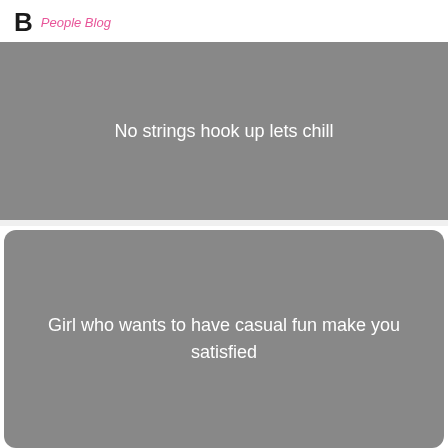B People Blog
No strings hook up lets chill
Girl who wants to have casual fun make you satisfied